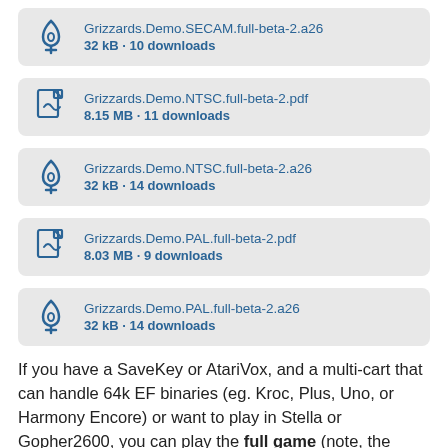Grizzards.Demo.SECAM.full-beta-2.a26
32 kB · 10 downloads
Grizzards.Demo.NTSC.full-beta-2.pdf
8.15 MB · 11 downloads
Grizzards.Demo.NTSC.full-beta-2.a26
32 kB · 14 downloads
Grizzards.Demo.PAL.full-beta-2.pdf
8.03 MB · 9 downloads
Grizzards.Demo.PAL.full-beta-2.a26
32 kB · 14 downloads
If you have a SaveKey or AtariVox, and a multi-cart that can handle 64k EF binaries (eg. Kroc, Plus, Uno, or Harmony Encore) or want to play in Stella or Gopher2600, you can play the full game (note, the